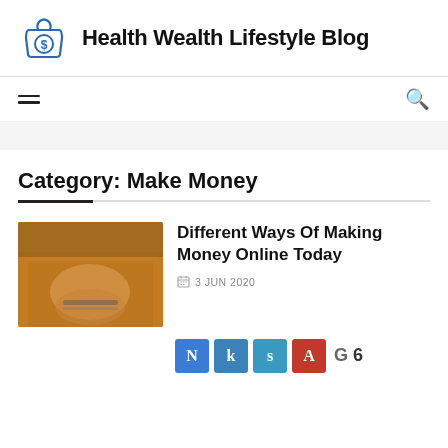Health Wealth Lifestyle Blog
[Figure (logo): Money bag icon with dollar sign, blue outline]
Category: Make Money
Different Ways Of Making Money Online Today
3 JUN 2020
[Figure (photo): Person wearing an orange/mustard sweater with bracelets, hands visible]
[Figure (infographic): Social share buttons: N (Facebook blue), k (blue), s (lighter blue), A (red), G (gray), 6]